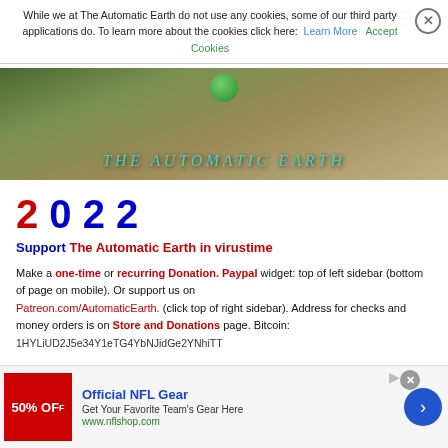While we at The Automatic Earth do not use any cookies, some of our third party applications do. To learn more about the cookies click here: Learn More  Accept Cookies
[Figure (photo): Header banner image of The Automatic Earth website showing an aerial landscape with a green globe icon and the site title 'The Automatic Earth' in teal italic serif font]
2022
Support The Automatic Earth in virustime
Make a one-time or recurring Donation. Paypal widget: top of left sidebar (bottom of page on mobile). Or support us on Patreon.com/AutomaticEarth. (click top of right sidebar). Address for checks and money orders is on Store and Donations page. Bitcoin: 1HYLiUD2J5e34Y1eTG4YbNJidGe2YNhiTT
[Figure (screenshot): Advertisement banner for Official NFL Gear showing 50% OFF with a red background, text 'Get Your Favorite Team's Gear Here' and URL www.nflshop.com, with a blue circular arrow button]